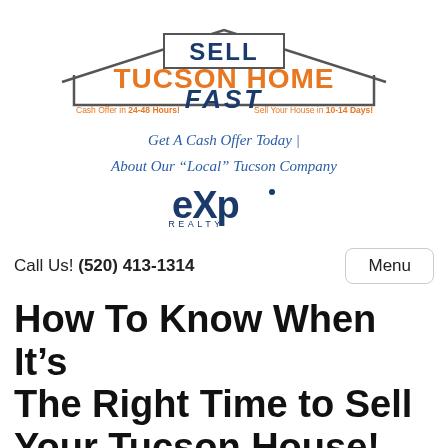[Figure (logo): Sell Tucson Home Fast logo with house outline shape, 'SELL' in dark blue, 'TUCSON HOME' in orange, 'FAST' in dark blue italic. Tagline: 'Cash Offer in 24-48 Hours!' on left and 'Sell Your House in 10-14 Days!' on right in orange.]
Get A Cash Offer Today |
About Our “Local” Tucson Company
[Figure (logo): eXp Realty logo in dark blue]
Call Us! (520) 413-1314
Menu
How To Know When It’s The Right Time to Sell Your Tucson House!